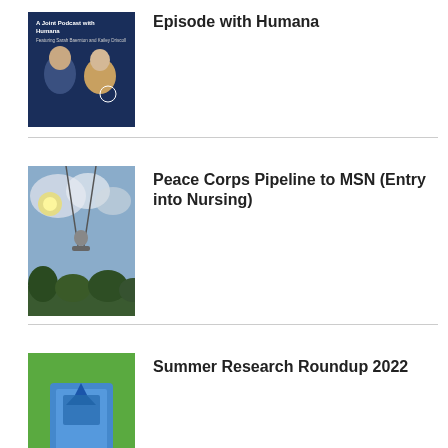[Figure (photo): Podcast thumbnail showing two women on a dark blue background with text 'A Joint Podcast with Humana' and 'Featuring Sarah Baernton and Kailey Driscoll']
Episode with Humana
[Figure (photo): Photo of a person on a swing against a cloudy sky with trees below]
Peace Corps Pipeline to MSN (Entry into Nursing)
[Figure (illustration): Colorful illustration on green background showing a person's feet standing on blue decorative tiles or artwork]
Summer Research Roundup 2022